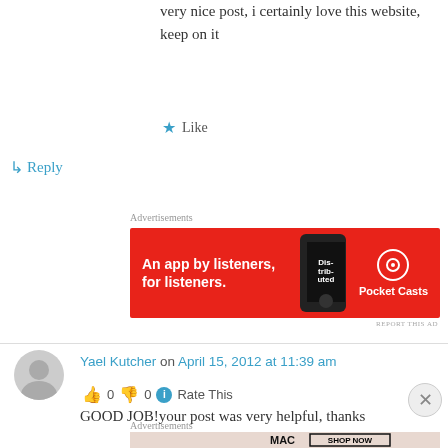very nice post, i certainly love this website, keep on it
★ Like
↳ Reply
[Figure (screenshot): Pocket Casts advertisement banner on red background: 'An app by listeners, for listeners.' with phone graphic and Pocket Casts logo]
Yael Kutcher on April 15, 2012 at 11:39 am
👍 0 👎 0 ℹ Rate This
GOOD JOB!your post was very helpful, thanks
[Figure (screenshot): MAC cosmetics advertisement showing lipsticks with SHOP NOW button]